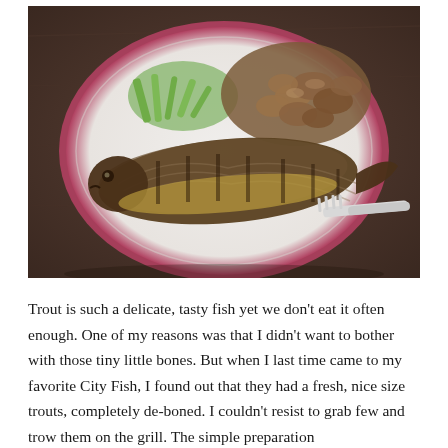[Figure (photo): A whole grilled trout on a white plate with a red rim, accompanied by sautéed mushrooms and green vegetables, with a white fork resting on the fish. The plate sits on a dark wooden table.]
Trout is such a delicate, tasty fish yet we don't eat it often enough. One of my reasons was that I didn't want to bother with those tiny little bones. But when I last time came to my favorite City Fish, I found out that they had a fresh, nice size trouts, completely de-boned. I couldn't resist to grab few and trow them on the grill. The simple preparation